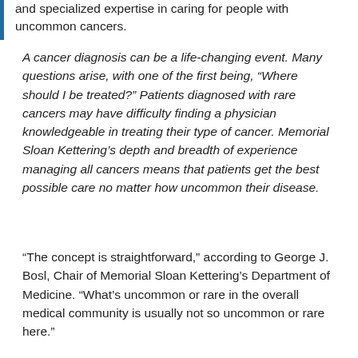and specialized expertise in caring for people with uncommon cancers.
A cancer diagnosis can be a life-changing event. Many questions arise, with one of the first being, “Where should I be treated?” Patients diagnosed with rare cancers may have difficulty finding a physician knowledgeable in treating their type of cancer. Memorial Sloan Kettering’s depth and breadth of experience managing all cancers means that patients get the best possible care no matter how uncommon their disease.
“The concept is straightforward,” according to George J. Bosl, Chair of Memorial Sloan Kettering’s Department of Medicine. “What’s uncommon or rare in the overall medical community is usually not so uncommon or rare here.”